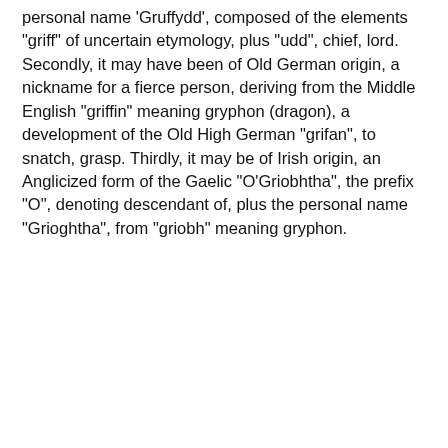personal name 'Gruffydd', composed of the elements "griff" of uncertain etymology, plus "udd", chief, lord. Secondly, it may have been of Old German origin, a nickname for a fierce person, deriving from the Middle English "griffin" meaning gryphon (dragon), a development of the Old High German "grifan", to snatch, grasp. Thirdly, it may be of Irish origin, an Anglicized form of the Gaelic "O'Griobhtha", the prefix "O", denoting descendant of, plus the personal name "Grioghtha", from "griobh" meaning gryphon.
[Figure (screenshot): Blue banner with text 'Introduce yourself' and a cookie consent bar overlaid at the bottom with text 'By using our site we assume you are ok with our cookie policy' and an Ok button. Below is a logo area with coat of arms and 'My GRIFFEY Family Story' text and a Choose dropdown.]